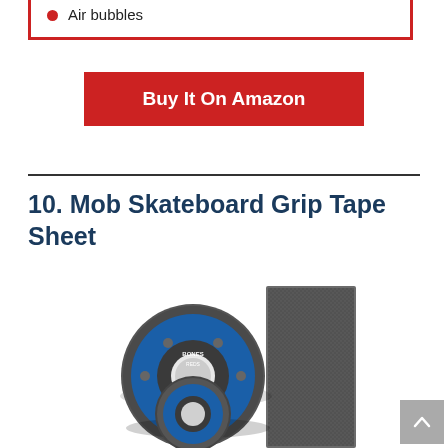Air bubbles
Buy It On Amazon
10. Mob Skateboard Grip Tape Sheet
[Figure (photo): Product photo showing skateboard bearings (blue sealed, labeled BONES STEEL) and a sheet of Mob grip tape (black griptape sheet) against a white background.]